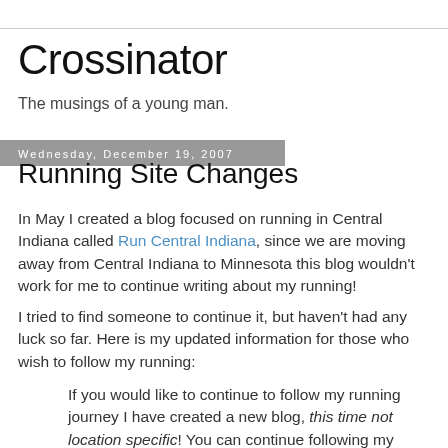Crossinator
The musings of a young man.
Wednesday, December 19, 2007
Running Site Changes
In May I created a blog focused on running in Central Indiana called Run Central Indiana, since we are moving away from Central Indiana to Minnesota this blog wouldn't work for me to continue writing about my running!
I tried to find someone to continue it, but haven't had any luck so far. Here is my updated information for those who wish to follow my running:
If you would like to continue to follow my running journey I have created a new blog, this time not location specific! You can continue following my journey at Team Cross Running, the updated URL is: